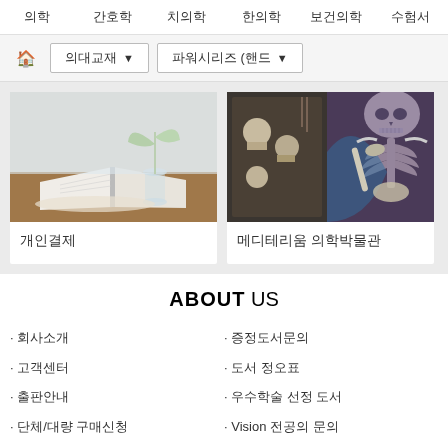의학  간호학  치의학  한의학  보건의학  수험서
🏠 의대교재 ▼  파워시리즈 (핸드 ▼
[Figure (photo): Open book with a plant in a glass vase on a wooden table]
개인결제
[Figure (photo): Skeleton and skulls display at medical museum]
메디테리움 의학박물관
ABOUT US
· 회사소개
· 증정도서문의
· 고객센터
· 도서 정오표
· 출판안내
· 우수학술 선정 도서
· 단체/대량 구매신청
· Vision 전공의 문의